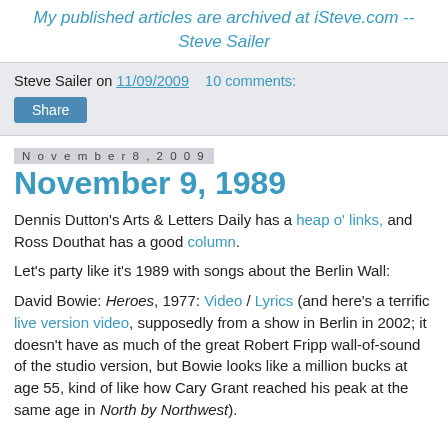My published articles are archived at iSteve.com -- Steve Sailer
Steve Sailer on 11/09/2009    10 comments:
Share
November 8, 2009
November 9, 1989
Dennis Dutton's Arts & Letters Daily has a heap o' links, and Ross Douthat has a good column.
Let's party like it's 1989 with songs about the Berlin Wall:
David Bowie: Heroes, 1977: Video / Lyrics (and here's a terrific live version video, supposedly from a show in Berlin in 2002; it doesn't have as much of the great Robert Fripp wall-of-sound of the studio version, but Bowie looks like a million bucks at age 55, kind of like how Cary Grant reached his peak at the same age in North by Northwest).